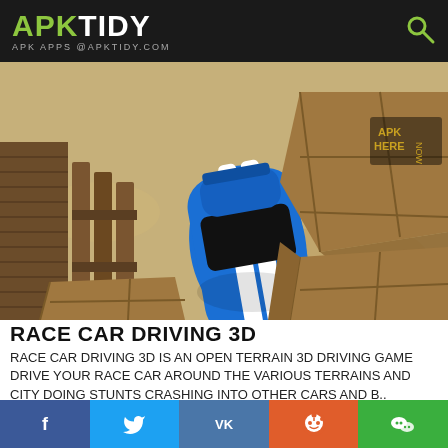APK TIDY — APK APPS @APKTIDY.COM
[Figure (screenshot): Top-down screenshot of Race Car Driving 3D game showing a blue muscle car with white racing stripes navigating through wooden crates and fences on a sandy terrain]
RACE CAR DRIVING 3D
RACE CAR DRIVING 3D IS AN OPEN TERRAIN 3D DRIVING GAME DRIVE YOUR RACE CAR AROUND THE VARIOUS TERRAINS AND CITY DOING STUNTS CRASHING INTO OTHER CARS AND B..
[Figure (screenshot): Dark banner showing stylized game logo text for Casual Race Driver 3D with glowing neon letters]
Social sharing buttons: Facebook, Twitter, VK, Reddit, WeChat